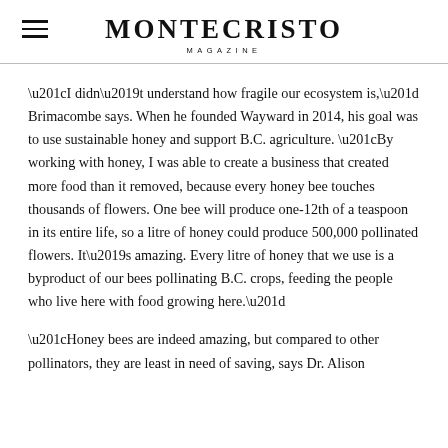MONTECRISTO MAGAZINE
“I didn’t understand how fragile our ecosystem is,” Brimacombe says. When he founded Wayward in 2014, his goal was to use sustainable honey and support B.C. agriculture. “By working with honey, I was able to create a business that created more food than it removed, because every honey bee touches thousands of flowers. One bee will produce one-12th of a teaspoon in its entire life, so a litre of honey could produce 500,000 pollinated flowers. It’s amazing. Every litre of honey that we use is a byproduct of our bees pollinating B.C. crops, feeding the people who live here with food growing here.”
Honey bees are indeed amazing, but compared to other pollinators, they are least in need of saving, says Dr. Alison